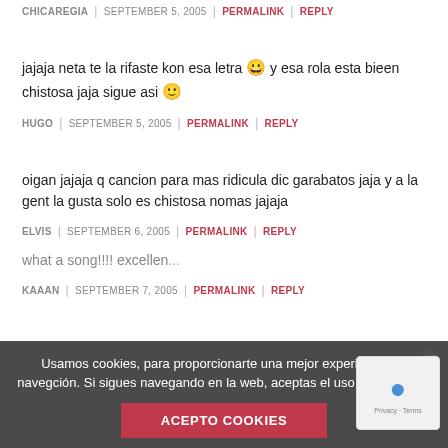jajaja neta te la rifaste kon esa letra 😀 y esa rola esta bieen chistosa jaja sigue asi 🙂
CHICAREGIA | SEPTEMBER 5, 2005 | PERMALINK | REPLY
HUGO | SEPTEMBER 5, 2005 | PERMALINK | REPLY
oigan jajaja q cancion para mas ridicula dic garabatos jaja y a la gent la gusta solo es chistosa nomas jajaja
ELVIS | SEPTEMBER 6, 2005 | PERMALINK | REPLY
what a song!!!! excellen...
KAAAN | SEPTEMBER 7, 2005 | PERMALINK | REPLY
Usamos cookies, para proporcionarte una mejor experiencia de navegción. Si sigues navegando en la web, aceptas el uso de coockies.
ACEPTO COOKIES